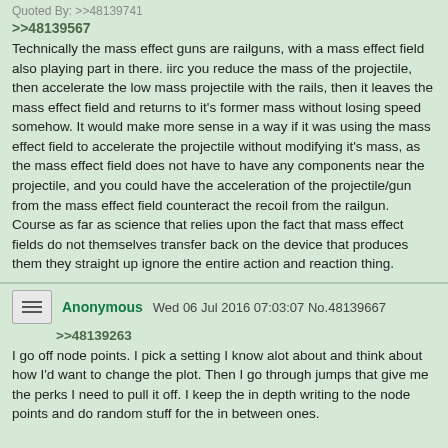Quoted By: >>48139741
>>48139567
Technically the mass effect guns are railguns, with a mass effect field also playing part in there. iirc you reduce the mass of the projectile, then accelerate the low mass projectile with the rails, then it leaves the mass effect field and returns to it's former mass without losing speed somehow. It would make more sense in a way if it was using the mass effect field to accelerate the projectile without modifying it's mass, as the mass effect field does not have to have any components near the projectile, and you could have the acceleration of the projectile/gun from the mass effect field counteract the recoil from the railgun. Course as far as science that relies upon the fact that mass effect fields do not themselves transfer back on the device that produces them they straight up ignore the entire action and reaction thing.
Anonymous Wed 06 Jul 2016 07:03:07 No.48139667
>>48139263
I go off node points. I pick a setting I know alot about and think about how I'd want to change the plot. Then I go through jumps that give me the perks I need to pull it off. I keep the in depth writing to the node points and do random stuff for the in between ones.

and thank you captcha, that statue had a very aesthetic stone penis.